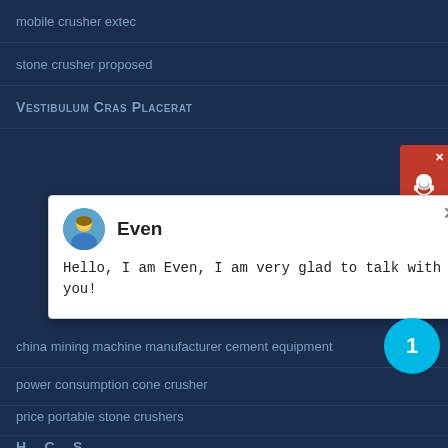mobile crusher extec
stone crusher proposed
Vestibulum Cras Placerat
[Figure (screenshot): Chat popup with avatar and name 'Even', message: Hello, I am Even, I am very glad to talk with you!]
[Figure (infographic): Red support widget with close X button and headset icon in top right corner]
china mining machine manufacturer cement equipment
[Figure (infographic): Cyan circular badge with number 1]
power consumption cone crusher
price portable stone crushers
H... C... S...